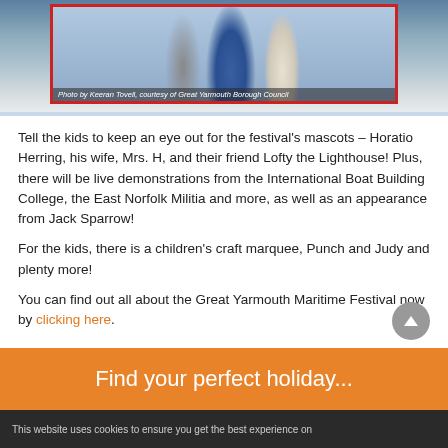[Figure (photo): Photo of festival mascots including Horatio Herring, Mrs. H, and Lofty the Lighthouse at the Great Yarmouth Maritime Festival. Photo credit: Photo by Keenan Tovell, courtesy of Great Yarmouth Borough Council]
Photo by Keeran Tovell, courtesy of Great Yarmouth Borough Council
Tell the kids to keep an eye out for the festival's mascots – Horatio Herring, his wife, Mrs. H, and their friend Lofty the Lighthouse! Plus, there will be live demonstrations from the International Boat Building College, the East Norfolk Militia and more, as well as an appearance from Jack Sparrow!
For the kids, there is a children's craft marquee, Punch and Judy and plenty more!
You can find out all about the Great Yarmouth Maritime Festival now by clicking here.
Find your perfect holiday...
This website uses cookies to ensure you get the best experience on